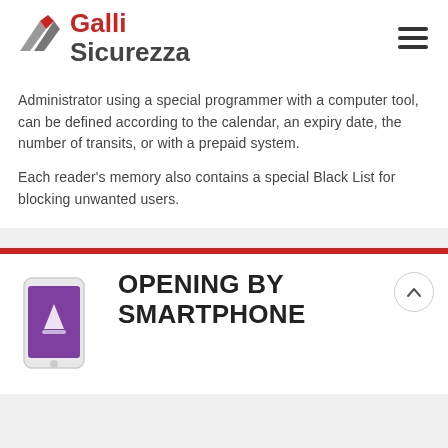Galli Sicurezza
Administrator using a special programmer with a computer tool, can be defined according to the calendar, an expiry date, the number of transits, or with a prepaid system.
Each reader's memory also contains a special Black List for blocking unwanted users.
OPENING BY SMARTPHONE
[Figure (photo): Smartphone displaying a purple app screen being held in a hand]